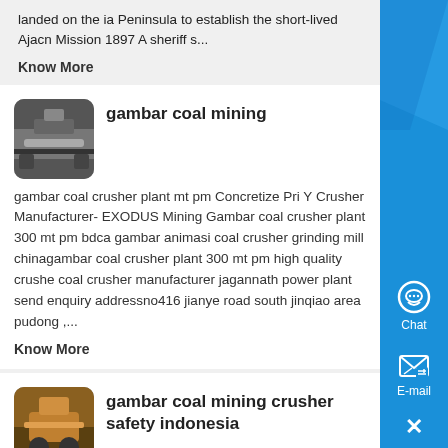landed on the ia Peninsula to establish the short-lived Ajacn Mission 1897 A sheriff s...
Know More
[Figure (photo): Thumbnail image of coal mining equipment]
gambar coal mining
gambar coal crusher plant mt pm Concretize Pri Y Crusher Manufacturer- EXODUS Mining Gambar coal crusher plant 300 mt pm bdca gambar animasi coal crusher grinding mill chinagambar coal crusher plant 300 mt pm high quality crusher coal crusher manufacturer jagannath power plant send enquiry addressno416 jianye road south jinqiao area pudong ,...
Know More
[Figure (photo): Thumbnail image of coal mining crusher safety]
gambar coal mining crusher safety indonesia
Gambar coal crusher gambar coal mining crusher safety indonesia gambar coal mining crusher safety indonesia wikipedia the free encyclopedia 1570 a party of ten jesuit